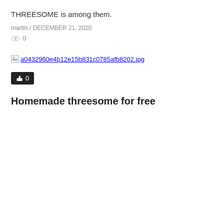THREESOME is among them.
martin / DECEMBER 21, 2020
0
[Figure (photo): Broken image placeholder showing filename: a0432960e4b12e15b831c0785afb8202.jpg]
0
Homemade threesome for free